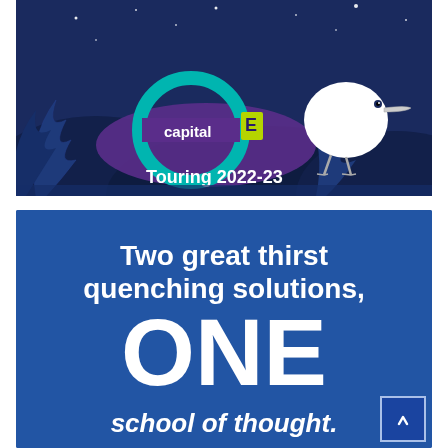[Figure (illustration): Kiwi Moosh Capital E touring show poster 2022-23. Dark blue night sky background with illustrated ferns, stars, and a white kiwi bird. Features a teal circular logo with 'capital E' in white and yellow-green text. Text reads 'Touring 2022-23' in white bold font.]
[Figure (infographic): Blue advertisement banner with white bold text reading 'Two great thirst quenching solutions, ONE school of thought.' The word ONE is very large. Bottom right has a small blue button with a white arrow.]